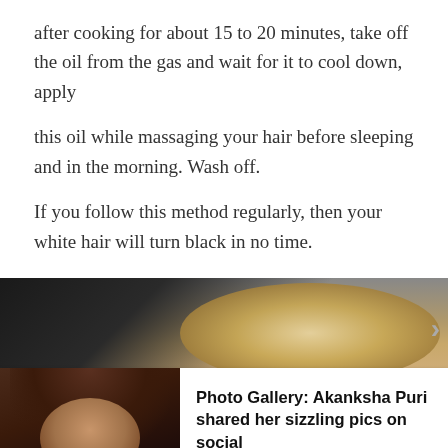after cooking for about 15 to 20 minutes, take off the oil from the gas and wait for it to cool down, apply
this oil while massaging your hair before sleeping and in the morning. Wash off.
If you follow this method regularly, then your white hair will turn black in no time.
[Figure (photo): A promotional banner showing a woman with blonde hair and a card with a photo of Akanksha Puri with text 'Photo Gallery: Akanksha Puri shared her sizzling pics on social' and a 'Read Next Story >' link]
Photo Gallery: Akanksha Puri shared her sizzling pics on social
Read Next Story >